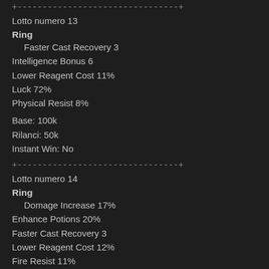+--------------------------------+
Lotto numero 13
Ring
Faster Cast Recovery 3
Intelligence Bonus 6
Lower Reagent Cost 11%
Luck 72%
Physical Resist 8%
Base: 100k
Rilanci: 50k
Instant Win: No
+--------------------------------+
Lotto numero 14
Ring
Domage Increase 17%
Enhance Potions 20%
Faster Cast Recovery 3
Lower Reagent Cost 12%
Fire Resist 11%
Win: Koky
+--------------------------------+